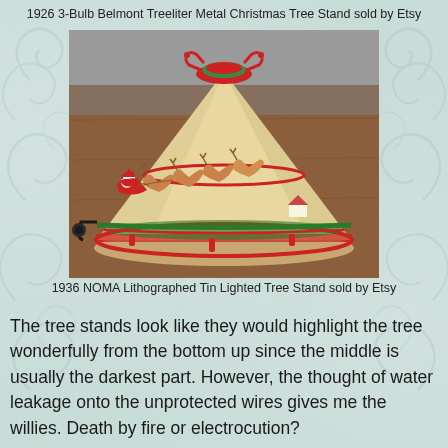1926 3-Bulb Belmont Treeliter Metal Christmas Tree Stand sold by Etsy
[Figure (photo): Vintage 1936 NOMA Lithographed Tin Lighted Tree Stand. A cone-shaped metal tree stand with decorative lithographed tin showing Santa Claus with reindeer sleigh scene in red and green, sitting on a wooden surface. A red metal cradle at the top holds the tree trunk.]
1936 NOMA Lithographed Tin Lighted Tree Stand sold by Etsy
The tree stands look like they would highlight the tree wonderfully from the bottom up since the middle is usually the darkest part. However, the thought of water leakage onto the unprotected wires gives me the willies. Death by fire or electrocution?